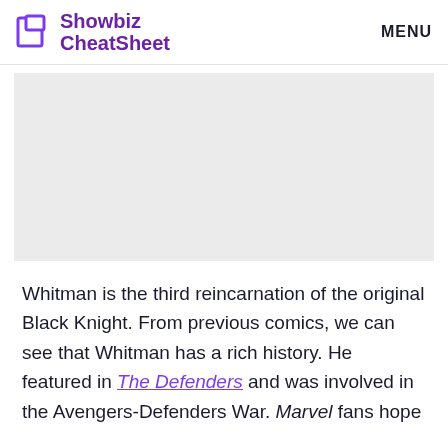Showbiz CheatSheet | MENU
[Figure (other): Gray placeholder advertisement block]
Whitman is the third reincarnation of the original Black Knight. From previous comics, we can see that Whitman has a rich history. He featured in The Defenders and was involved in the Avengers-Defenders War. Marvel fans hope